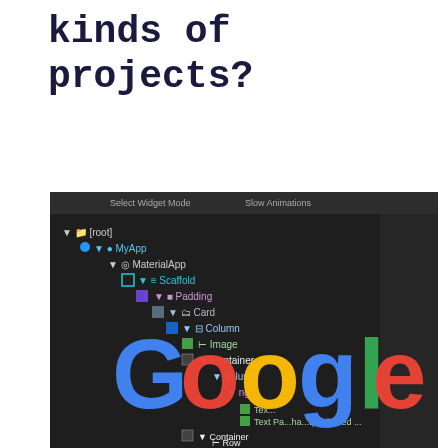kinds of projects?
[Figure (screenshot): Screenshot of Flutter widget inspector tree showing [root] > MyApp > MaterialApp > Scaffold > Padding > Card > Column > Image, Container, Column > Padding > Text, Text, Container > Row hierarchy, with Google logo overlaid in the bottom portion of the image.]